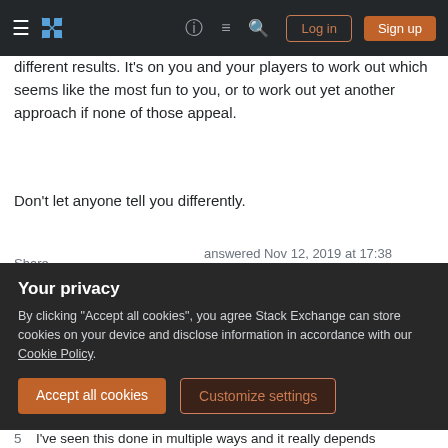Stack Exchange navigation header with login and sign up buttons
different results. It's on you and your players to work out which seems like the most fun to you, or to work out yet another approach if none of those appeal.
Don't let anyone tell you differently.
Share
Improve this answer
Follow
answered Nov 12, 2019 at 17:38
Novak
38k ● 8 ● 83 ● 162
1  Your character metaphors helped me understand the player/character division the best! I don't want to seem like
Your privacy
By clicking "Accept all cookies", you agree Stack Exchange can store cookies on your device and disclose information in accordance with our Cookie Policy.
Accept all cookies
Customize settings
5  I've seen this done in multiple ways and it really depends